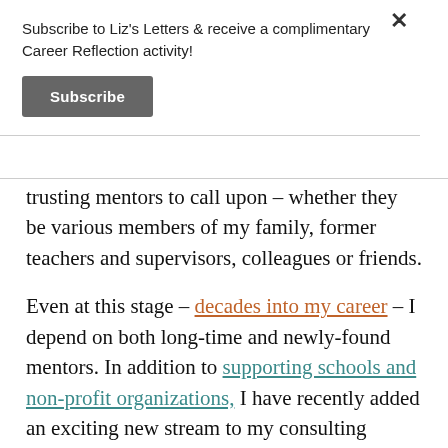Subscribe to Liz's Letters & receive a complimentary Career Reflection activity!
Subscribe
trusting mentors to call upon – whether they be various members of my family, former teachers and supervisors, colleagues or friends.
Even at this stage – decades into my career – I depend on both long-time and newly-found mentors. In addition to supporting schools and non-profit organizations, I have recently added an exciting new stream to my consulting services as career coach and advisor – and in navigating toward this decision, I have reached out to my many mentors.  They help bring clarity to my thinking,